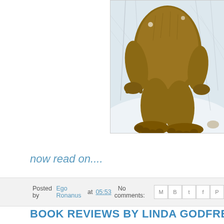[Figure (illustration): Illustration of a large brown furry bipedal creature (Bigfoot/Sasquatch) walking through a snowy winter scene with bare trees in the background. The creature is depicted from roughly waist down, showing large feet and a shaggy brown body.]
now read on....
Posted by Ego Ronanus at 05:53   No comments:
BOOK REVIEWS BY LINDA GODFREY